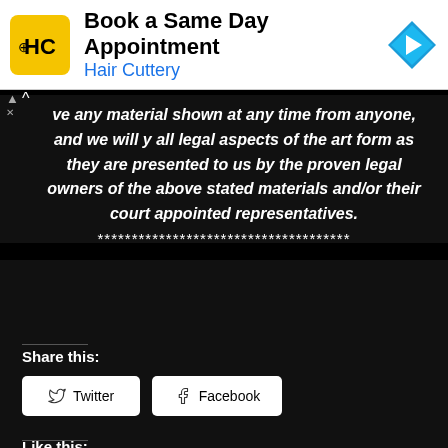[Figure (screenshot): Hair Cuttery advertisement banner with logo, text 'Book a Same Day Appointment' and 'Hair Cuttery', and a blue navigation arrow icon]
ve any material shown at any time from anyone, and we will y all legal aspects of the art form as they are presented to us by the proven legal owners of the above stated materials and/or their court appointed representatives.
*************************************
Share this:
Twitter
Facebook
Like this: